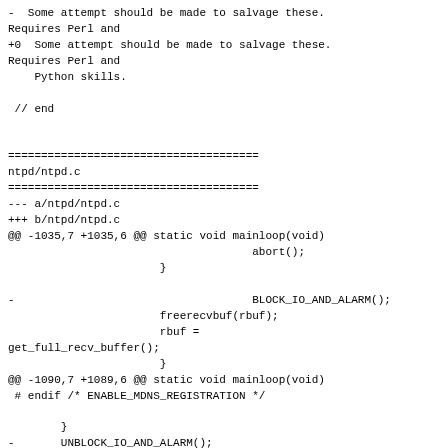-  Some attempt should be made to salvage these.
Requires Perl and
+0  Some attempt should be made to salvage these.
Requires Perl and
    Python skills.

 // end


======================================
ntpd/ntpd.c
======================================
--- a/ntpd/ntpd.c
+++ b/ntpd/ntpd.c
@@ -1035,7 +1035,6 @@ static void mainloop(void)
                                      abort();
                        }

-                                     BLOCK_IO_AND_ALARM();
                        freerecvbuf(rbuf);
                        rbuf =
get_full_recv_buffer();
                        }
@@ -1090,7 +1089,6 @@ static void mainloop(void)
 # endif /* ENABLE_MDNS_REGISTRATION */

        }
-       UNBLOCK_IO_AND_ALARM();
 }